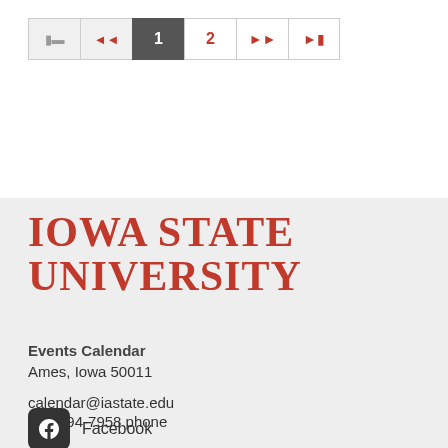[Figure (screenshot): Pagination navigation bar with buttons: first page (|<), previous (<< red), current page 1 (dark), page 2 (red), next (>> red), last (>>| red)]
[Figure (logo): Iowa State University wordmark in red serif bold uppercase text on light gray background]
Events Calendar
Ames, Iowa 50011

calendar@iastate.edu
515-294-7958 phone

More contacts
Facebook